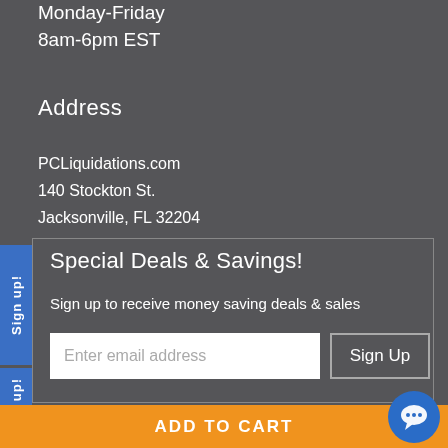Monday-Friday
8am-6pm EST
Address
PCLiquidations.com
140 Stockton St.
Jacksonville, FL 32204
Special Deals & Savings!
Sign up to receive money saving deals & sales
Enter email address
Sign Up
ADD TO CART